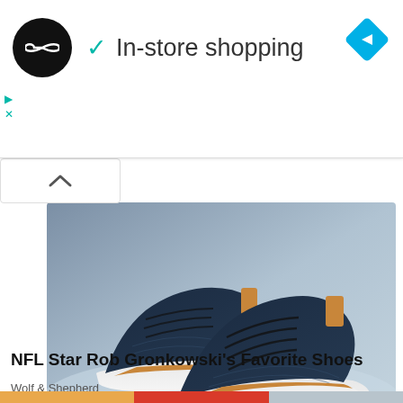In-store shopping
[Figure (photo): Two dark navy blue sneakers/casual shoes with white soles and tan leather heel tab, displayed on a light blue/grey surface]
NFL Star Rob Gronkowski's Favorite Shoes
Wolf & Shepherd